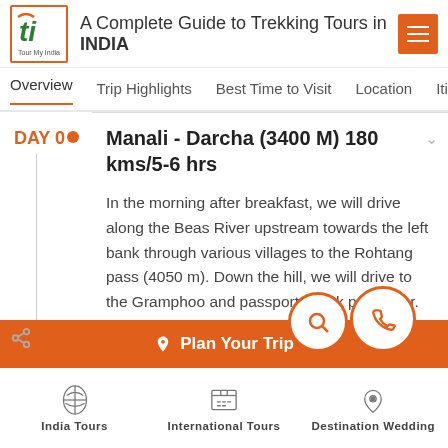A Complete Guide to Trekking Tours in INDIA
Overview  Trip Highlights  Best Time to Visit  Location  Iti
DAY 04
Manali - Darcha (3400 M) 180 kms/5-6 hrs
In the morning after breakfast, we will drive along the Beas River upstream towards the left bank through various villages to the Rohtang pass (4050 m). Down the hill, we will drive to the Gramphoo and passport check point a…r. Or…
Plan Your Trip
India Tours  International Tours  Destination Wedding